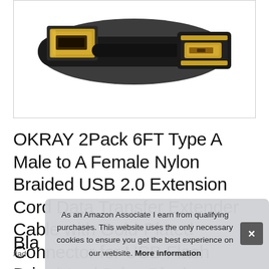[Figure (photo): Product photo of OKRAY USB 2.0 extension cable showing gold-plated Type A male and female connectors against a white background]
OKRAY 2Pack 6FT Type A Male to A Female Nylon Braided USB 2.0 Extension Cord Data Transfer Extender Cable with Gold-Plated Connector for USB Flash Drive/Hard Drive Black Bla...
#ad
As an Amazon Associate I earn from qualifying purchases. This website uses the only necessary cookies to ensure you get the best experience on our website. More information